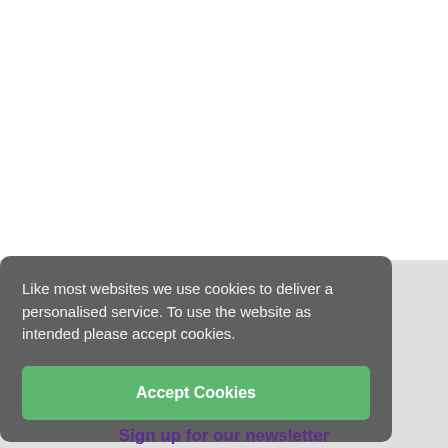Like most websites we use cookies to deliver a personalised service. To use the website as intended please accept cookies.
Accept Cookies
Sign up for our newsletter